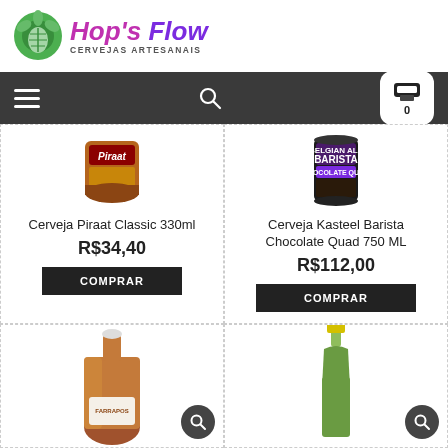[Figure (logo): Hop's Flow Cervejas Artesanais logo with green hop icon and stylized purple/magenta text]
[Figure (screenshot): Navigation bar with hamburger menu, search icon, and cart icon showing 0 items]
[Figure (photo): Cerveja Piraat Classic 330ml bottle top portion]
Cerveja Piraat Classic 330ml
R$34,40
COMPRAR
[Figure (photo): Cerveja Kasteel Barista Chocolate Quad 750 ML can]
Cerveja Kasteel Barista Chocolate Quad 750 ML
R$112,00
COMPRAR
[Figure (photo): Farrapos beer bottle, amber colored]
[Figure (photo): Green bottle neck of sparkling/champagne-style beer]